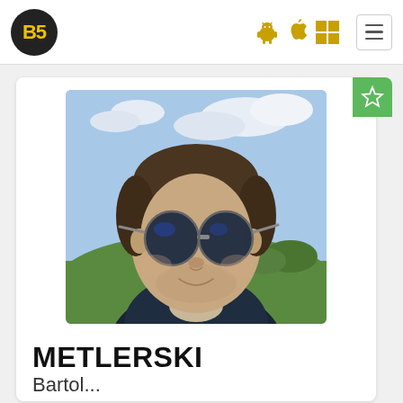B5 — navigation bar with Android, Apple, Windows icons and hamburger menu
[Figure (photo): Profile photo of a man wearing dark sunglasses (blue-mirrored lenses), short brown hair, stubble beard, smiling slightly. Outdoor background showing cloudy sky and green treetops. Selfie-style portrait.]
METLERSKI
Bartol...